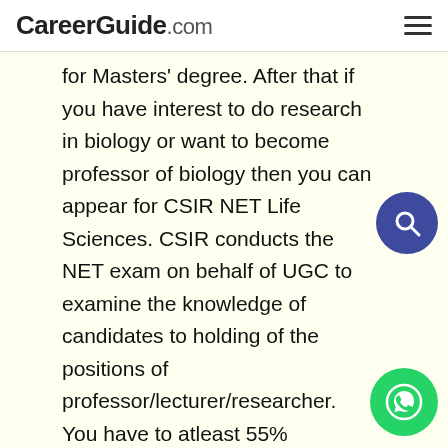CareerGuide.com
for Masters' degree. After that if you have interest to do research in biology or want to become professor of biology then you can appear for CSIR NET Life Sciences. CSIR conducts the NET exam on behalf of UGC to examine the knowledge of candidates to holding of the positions of professor/lecturer/researcher. You have to atleast 55% aggregate percent in post graduation degree for CSIR NET